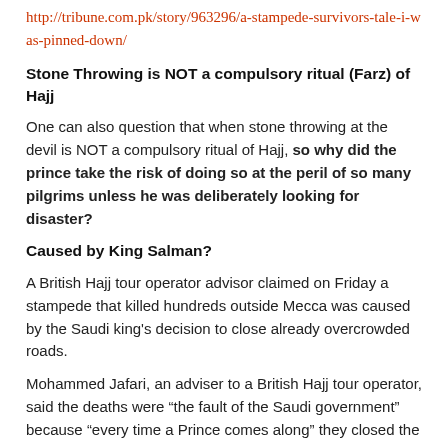http://tribune.com.pk/story/963296/a-stampede-survivors-tale-i-was-pinned-down/
Stone Throwing is NOT a compulsory ritual (Farz) of Hajj
One can also question that when stone throwing at the devil is NOT a compulsory ritual of Hajj, so why did the prince take the risk of doing so at the peril of so many pilgrims unless he was deliberately looking for disaster?
Caused by King Salman?
A British Hajj tour operator advisor claimed on Friday a stampede that killed hundreds outside Mecca was caused by the Saudi king's decision to close already overcrowded roads.
Mohammed Jafari, an adviser to a British Hajj tour operator, said the deaths were “the fault of the Saudi government” because “every time a Prince comes along” they closed the